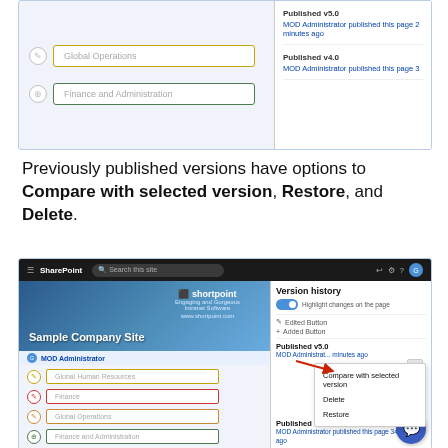[Figure (screenshot): Top portion of a SharePoint page showing Version history panel with Published v5.0 and v4.0 entries, and navigation items Global Operations and Finance and Administration]
Previously published versions have options to Compare with selected version, Restore, and Delete.
[Figure (screenshot): SharePoint Sample Company Site page with Version history panel open showing Published v3.0, v4.0, v2.0, with a dropdown menu showing Compare with selected version, Delete, and Restore options. Navigation includes Global Human Resources, Finance, Global Operations, Finance and Administration.]